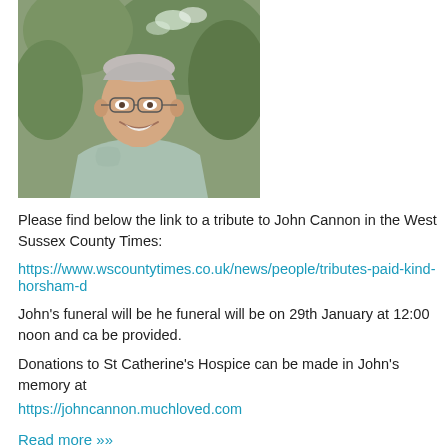[Figure (photo): Outdoor photograph of an elderly man with glasses, smiling, wearing a light blue checkered shirt, with trees and foliage in the background.]
Please find below the link to a tribute to John Cannon in the West Sussex County Times:
https://www.wscountytimes.co.uk/news/people/tributes-paid-kind-horsham-d
John's funeral will be he funeral will be on 29th January at 12:00 noon and ca be provided.
Donations to St Catherine's Hospice can be made in John's memory at https://johncannon.muchloved.com
Read more »»
Tags:
2020-21 Season